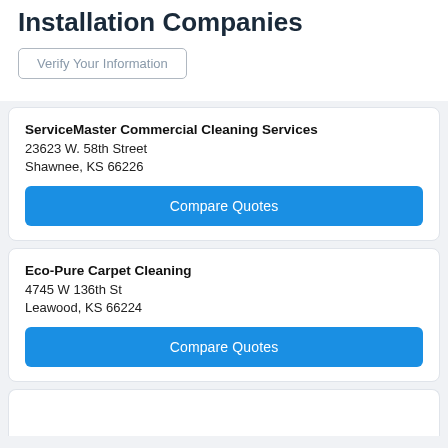Installation Companies
Verify Your Information
ServiceMaster Commercial Cleaning Services
23623 W. 58th Street
Shawnee, KS 66226
Compare Quotes
Eco-Pure Carpet Cleaning
4745 W 136th St
Leawood, KS 66224
Compare Quotes